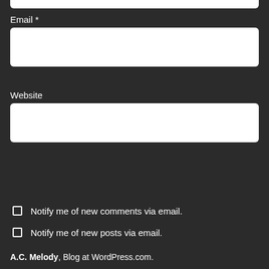Email *
Website
Post Comment
Notify me of new comments via email.
Notify me of new posts via email.
A.C. Melody, Blog at WordPress.com.